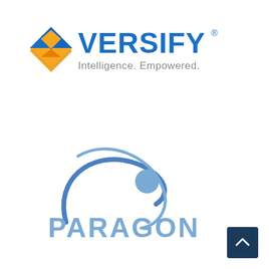[Figure (logo): Versify logo with diamond-shaped icon in blue, gold, and orange colors, with text 'VERSIFY' in blue and tagline 'Intelligence. Empowered.' in gray]
[Figure (logo): Paragon logo with blue orbital ring graphic and dot, with text 'PARAGON' in light blue below]
[Figure (other): Dark navy blue square button with upward caret/chevron arrow in white, positioned at bottom right corner]